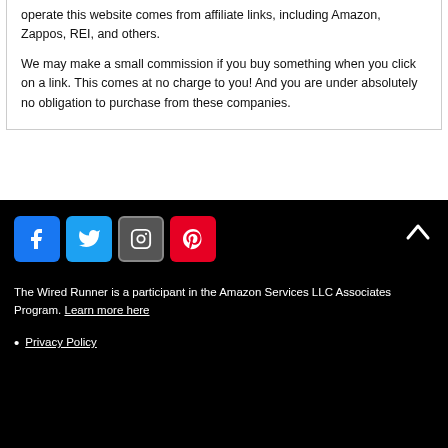operate this website comes from affiliate links, including Amazon, Zappos, REI, and others.

We may make a small commission if you buy something when you click on a link. This comes at no charge to you! And you are under absolutely no obligation to purchase from these companies.
[Figure (other): Social media icon buttons: Facebook (blue), Twitter (light blue), Instagram (dark gray), Pinterest (red)]
The Wired Runner is a participant in the Amazon Services LLC Associates Program. Learn more here
Privacy Policy